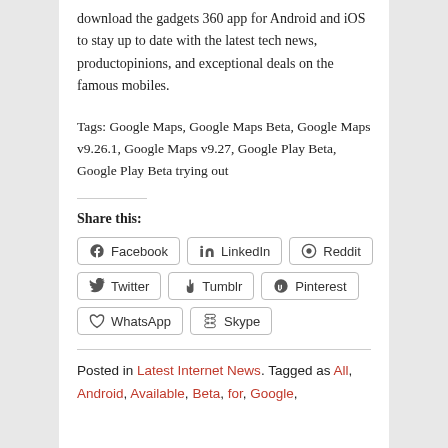download the gadgets 360 app for Android and iOS to stay up to date with the latest tech news, productopinions, and exceptional deals on the famous mobiles.
Tags: Google Maps, Google Maps Beta, Google Maps v9.26.1, Google Maps v9.27, Google Play Beta, Google Play Beta trying out
Share this:
Facebook  LinkedIn  Reddit  Twitter  Tumblr  Pinterest  WhatsApp  Skype
Posted in Latest Internet News. Tagged as All, Android, Available, Beta, for, Google,